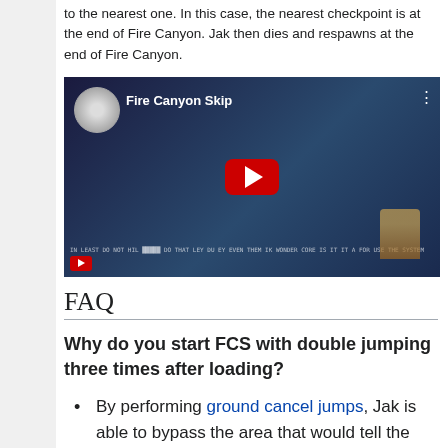to the nearest one. In this case, the nearest checkpoint is at the end of Fire Canyon. Jak then dies and respawns at the end of Fire Canyon.
[Figure (screenshot): YouTube video embed thumbnail showing 'Fire Canyon Skip' video with YouTube play button and game footage]
FAQ
Why do you start FCS with double jumping three times after loading?
By performing ground cancel jumps, Jak is able to bypass the area that would tell the game to bounce Jak back to solid ground.